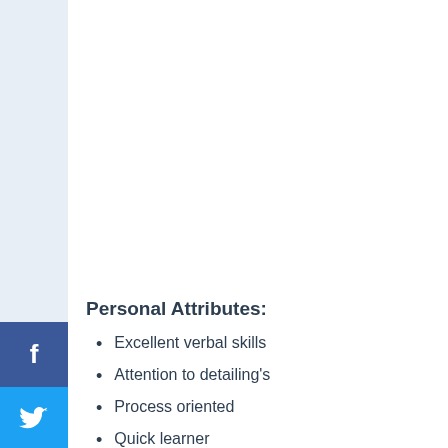Personal Attributes:
Excellent verbal skills
Attention to detailing's
Process oriented
Quick learner
Ability to work independently
Benefits
Learning & development programs